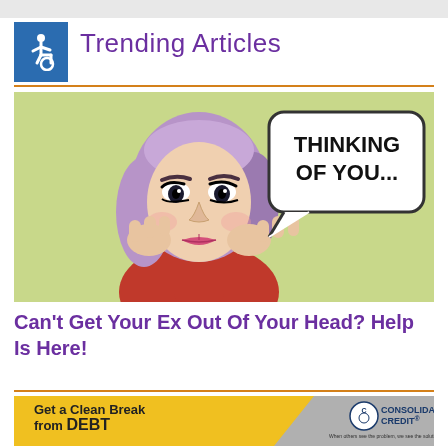[Figure (logo): Blue square with white wheelchair accessibility icon]
Trending Articles
[Figure (illustration): Pop-art style illustration of a woman resting her face in her hands with a speech bubble saying 'THINKING OF YOU...' on a light green background]
Can't Get Your Ex Out Of Your Head? Help Is Here!
[Figure (infographic): Advertisement banner: 'Get a Clean Break from DEBT' with Consolidated Credit logo on a yellow and gray background]